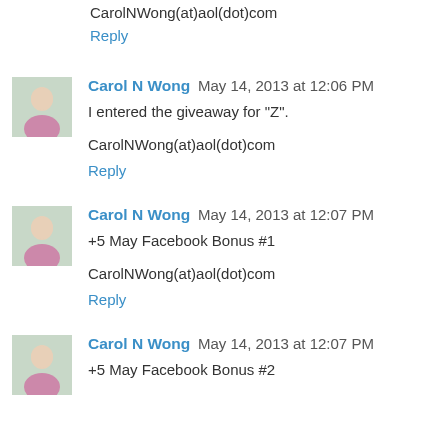CarolNWong(at)aol(dot)com
Reply
Carol N Wong  May 14, 2013 at 12:06 PM
I entered the giveaway for "Z".
CarolNWong(at)aol(dot)com
Reply
Carol N Wong  May 14, 2013 at 12:07 PM
+5 May Facebook Bonus #1
CarolNWong(at)aol(dot)com
Reply
Carol N Wong  May 14, 2013 at 12:07 PM
+5 May Facebook Bonus #2